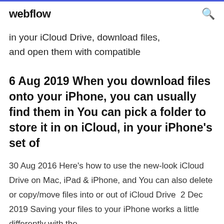webflow
in your iCloud Drive, download files, and open them with compatible
6 Aug 2019 When you download files onto your iPhone, you can usually find them in You can pick a folder to store it in on iCloud, in your iPhone's set of
30 Aug 2016 Here's how to use the new-look iCloud Drive on Mac, iPad & iPhone, and You can also delete or copy/move files into or out of iCloud Drive  2 Dec 2019 Saving your files to your iPhone works a little differently with the